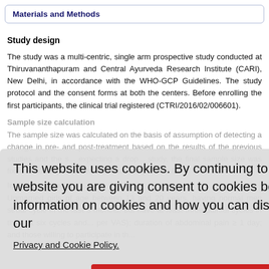Materials and Methods
Study design
The study was a multi-centric, single arm prospective study conducted at Thiruvananthapuram and Central Ayurveda Research Institute (CARI), New Delhi, in accordance with the WHO-GCP Guidelines. The study protocol and the consent forms at both the centers. Before enrolling the first participants, the clinical trial registered (CTRI/2016/02/006601).
Sample size calculation
The sample size was calculated on the basis of assumption of detecting a change in pre- and post-treatment based on the results of the previous studies and the s... expecting a drop... study, the final sample size was fixed at 50 for per center. The total sample size f...
Inclusion criteria
Unmarried girls of age between 13 and 20 years, having normal menstrual cycle in the last 3 months, but have at least three painful cycles in the last six cycles and... per VAS); duration of abdominal pain ≥ 1 day; and those willing to participate in th...
This website uses cookies. By continuing to use this website you are giving consent to cookies being used. For information on cookies and how you can disable them visit our
Privacy and Cookie Policy.
AGREE & PROCEED